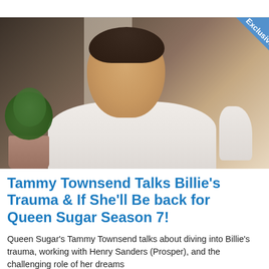[Figure (photo): A woman in a white ruffled top sits indoors, smiling slightly. A green plant and curtains are visible in the background. An 'Exclusive' blue diagonal banner appears in the top-right corner of the image.]
Tammy Townsend Talks Billie's Trauma & If She'll Be back for Queen Sugar Season 7!
Queen Sugar's Tammy Townsend talks about diving into Billie's trauma, working with Henry Sanders (Prosper), and the challenging role of her dreams